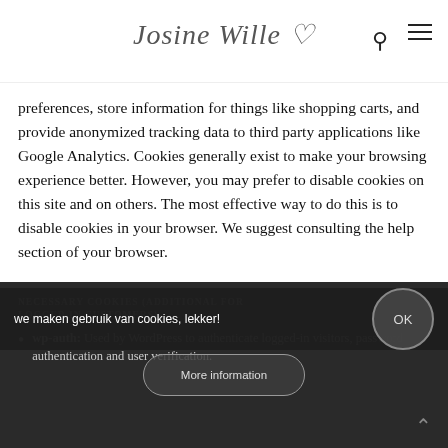Josine Wille ♡
preferences, store information for things like shopping carts, and provide anonymized tracking data to third party applications like Google Analytics. Cookies generally exist to make your browsing experience better. However, you may prefer to disable cookies on this site and on others. The most effective way to do this is to disable cookies in your browser. We suggest consulting the help section of your browser.
NECESSARY COOKIES (ADDITIONAL FOR LOGGED IN CUSTOMERS)
wp-auth: Used by WordPress to authenticate logged-in visitors, password authentication and user verification.